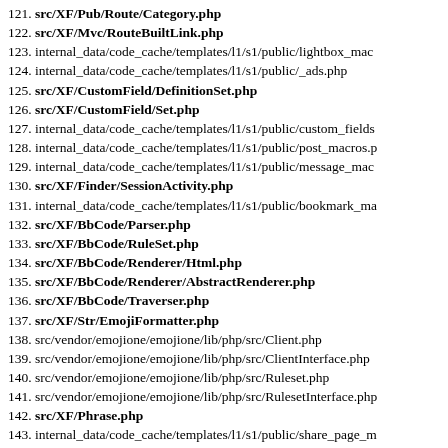121. src/XF/Pub/Route/Category.php
122. src/XF/Mvc/RouteBuiltLink.php
123. internal_data/code_cache/templates/l1/s1/public/lightbox_mac
124. internal_data/code_cache/templates/l1/s1/public/_ads.php
125. src/XF/CustomField/DefinitionSet.php
126. src/XF/CustomField/Set.php
127. internal_data/code_cache/templates/l1/s1/public/custom_fields
128. internal_data/code_cache/templates/l1/s1/public/post_macros.p
129. internal_data/code_cache/templates/l1/s1/public/message_mac
130. src/XF/Finder/SessionActivity.php
131. internal_data/code_cache/templates/l1/s1/public/bookmark_ma
132. src/XF/BbCode/Parser.php
133. src/XF/BbCode/RuleSet.php
134. src/XF/BbCode/Renderer/Html.php
135. src/XF/BbCode/Renderer/AbstractRenderer.php
136. src/XF/BbCode/Traverser.php
137. src/XF/Str/EmojiFormatter.php
138. src/vendor/emojione/emojione/lib/php/src/Client.php
139. src/vendor/emojione/emojione/lib/php/src/ClientInterface.php
140. src/vendor/emojione/emojione/lib/php/src/Ruleset.php
141. src/vendor/emojione/emojione/lib/php/src/RulesetInterface.php
142. src/XF/Phrase.php
143. internal_data/code_cache/templates/l1/s1/public/share_page_m
144. internal_data/code_cache/navigation_cache.php
145. src/XF/Pub/Route/Search.php